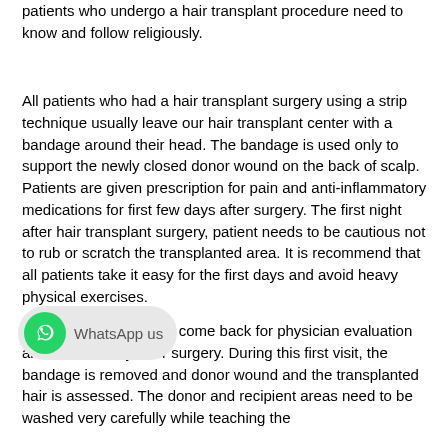patients who undergo a hair transplant procedure need to know and follow religiously.
All patients who had a hair transplant surgery using a strip technique usually leave our hair transplant center with a bandage around their head. The bandage is used only to support the newly closed donor wound on the back of scalp. Patients are given prescription for pain and anti-inflammatory medications for first few days after surgery. The first night after hair transplant surgery, patient needs to be cautious not to rub or scratch the transplanted area. It is recommend that all patients take it easy for the first days and avoid heavy physical exercises.
Those patients need to come back for physician evaluation and the next day after surgery. During this first visit, the bandage is removed and donor wound and the transplanted hair is assessed. The donor and recipient areas need to be washed very carefully while teaching the